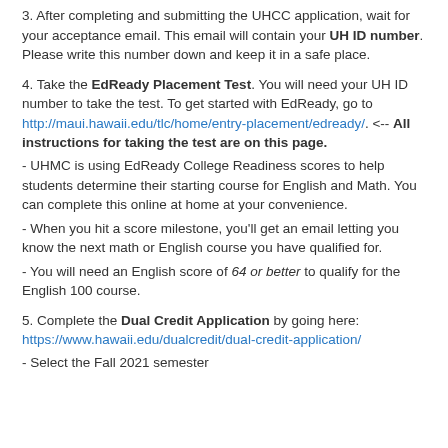3. After completing and submitting the UHCC application, wait for your acceptance email. This email will contain your UH ID number. Please write this number down and keep it in a safe place.
4. Take the EdReady Placement Test. You will need your UH ID number to take the test. To get started with EdReady, go to http://maui.hawaii.edu/tlc/home/entry-placement/edready/. <-- All instructions for taking the test are on this page.
- UHMC is using EdReady College Readiness scores to help students determine their starting course for English and Math. You can complete this online at home at your convenience.
- When you hit a score milestone, you'll get an email letting you know the next math or English course you have qualified for.
- You will need an English score of 64 or better to qualify for the English 100 course.
5. Complete the Dual Credit Application by going here: https://www.hawaii.edu/dualcredit/dual-credit-application/
- Select the Fall 2021 semester